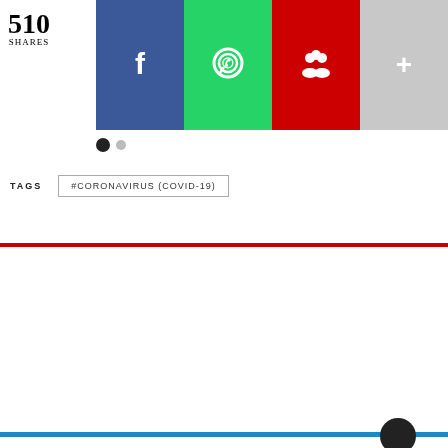510 SHARES
[Figure (infographic): Social share buttons: Facebook (blue), WhatsApp (green), MySpace/group (red), More (gray)]
#CORONAVIRUS (COVID-19)
[Figure (logo): 961 logo in red large text]
ABOUT   ADVERTISE   961OFFICES   SUPPORT US
CAREERS   MERCH   CONTACT US   NEWSLETTERS